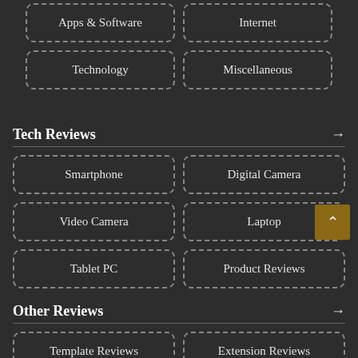Apps & Software
Internet
Technology
Miscellaneous
Tech Reviews →
Smartphone
Digital Camera
Video Camera
Laptop
Tablet PC
Product Reviews
Other Reviews →
Template Reviews
Extension Reviews